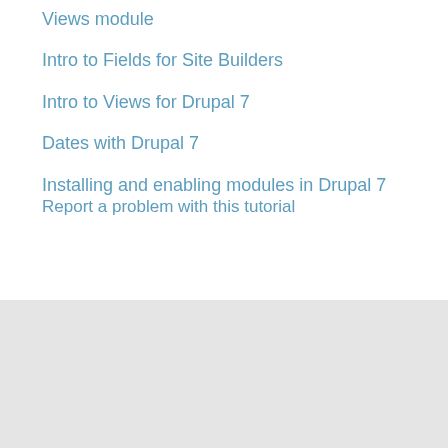Views module
Intro to Fields for Site Builders
Intro to Views for Drupal 7
Dates with Drupal 7
Installing and enabling modules in Drupal 7
Report a problem with this tutorial
About us
Blog
Student discount